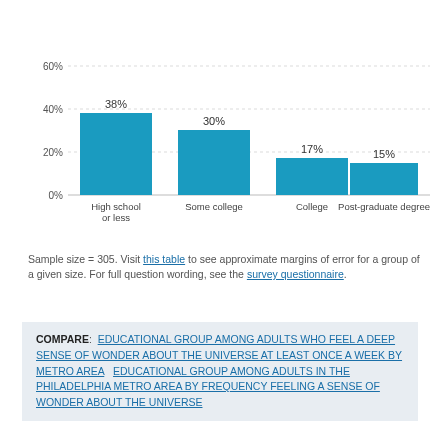[Figure (bar-chart): ]
Sample size = 305. Visit this table to see approximate margins of error for a group of a given size. For full question wording, see the survey questionnaire.
COMPARE: EDUCATIONAL GROUP AMONG ADULTS WHO FEEL A DEEP SENSE OF WONDER ABOUT THE UNIVERSE AT LEAST ONCE A WEEK BY METRO AREA   EDUCATIONAL GROUP AMONG ADULTS IN THE PHILADELPHIA METRO AREA BY FREQUENCY FEELING A SENSE OF WONDER ABOUT THE UNIVERSE